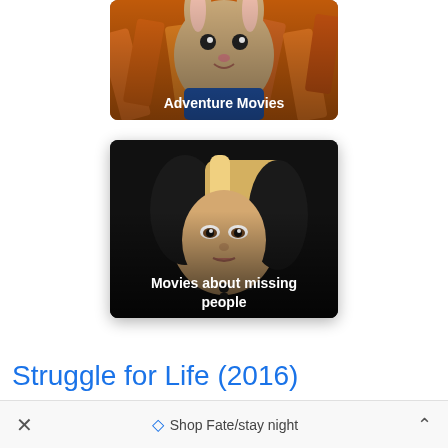[Figure (photo): Movie category card showing a rabbit character in a blue jacket surrounded by carrots, labeled 'Adventure Movies']
[Figure (photo): Movie category card showing a dark thriller image of a blonde woman with a shadowy figure behind her, labeled 'Movies about missing people']
Struggle for Life (2016)
× ♦ Shop Fate/stay night ^